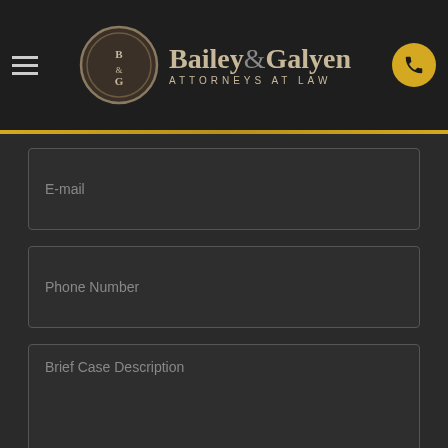[Figure (logo): Bailey & Galyen Attorneys at Law logo with circular B&G emblem on dark header background with hamburger menu and phone button]
E-mail
Phone Number
Brief Case Description